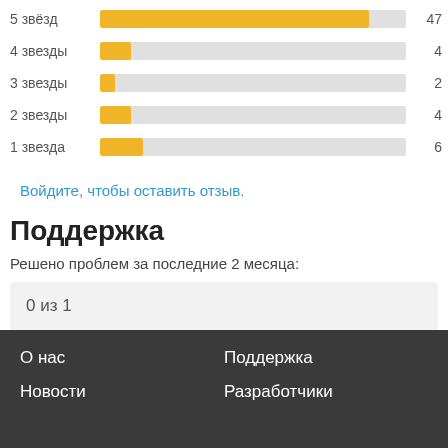[Figure (bar-chart): Rating distribution]
Войдите, чтобы оставить отзыв.
Поддержка
Решено проблем за последние 2 месяца:
0 из 1
Перейти в форум поддержки
О нас  Поддержка  Новости  Разработчики